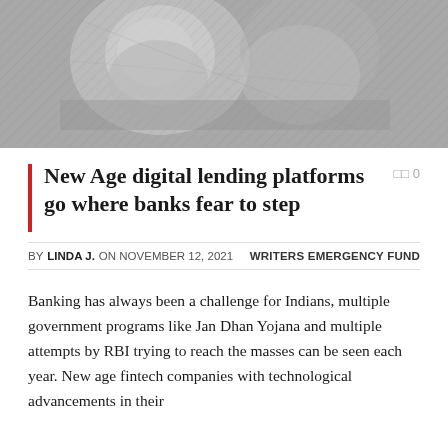[Figure (photo): Black and white photograph of a person, partially visible, with currency/banknote imagery in the background]
New Age digital lending platforms go where banks fear to step
BY LINDA J. ON NOVEMBER 12, 2021   WRITERS EMERGENCY FUND
Banking has always been a challenge for Indians, multiple government programs like Jan Dhan Yojana and multiple attempts by RBI trying to reach the masses can be seen each year. New age fintech companies with technological advancements in their